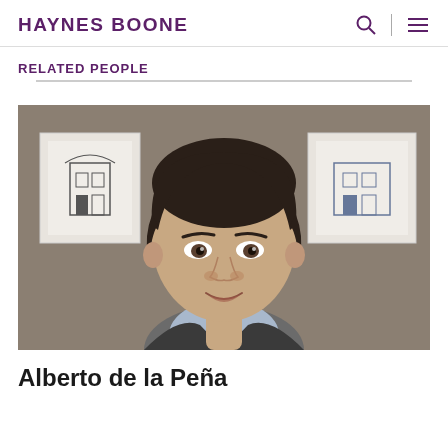HAYNES BOONE
RELATED PEOPLE
[Figure (photo): Professional headshot of Alberto de la Peña, a man in a dark suit with a light blue shirt, smiling, with framed artwork visible in the background]
Alberto de la Peña